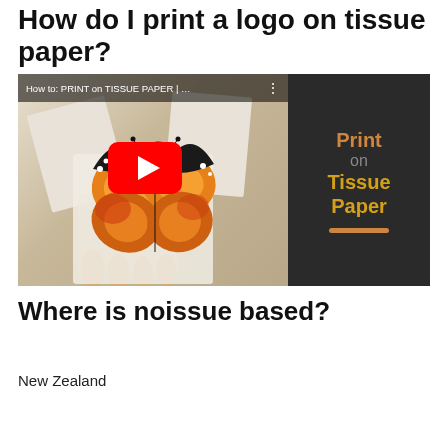How do I print a logo on tissue paper?
[Figure (screenshot): YouTube video thumbnail showing a person holding a monarch butterfly printed on tissue paper. The video is titled 'How to: PRINT on TISSUE PAPER | ...' The right side shows text: Print on Tissue Paper with an orange underline bar on dark background.]
Where is noissue based?
New Zealand